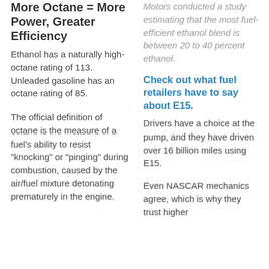More Octane = More Power, Greater Efficiency
Ethanol has a naturally high-octane rating of 113. Unleaded gasoline has an octane rating of 85.
The official definition of octane is the measure of a fuel’s ability to resist “knocking” or “pinging” during combustion, caused by the air/fuel mixture detonating prematurely in the engine.
Motors conducted a study estimating that the most fuel-efficient ethanol blend is between 20 to 40 percent ethanol.
Check out what fuel retailers have to say about E15.
Drivers have a choice at the pump, and they have driven over 16 billion miles using E15.
Even NASCAR mechanics agree, which is why they trust higher